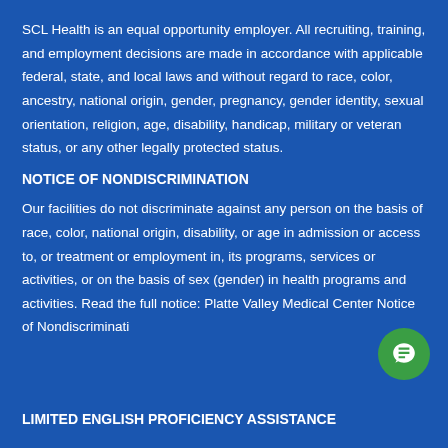SCL Health is an equal opportunity employer. All recruiting, training, and employment decisions are made in accordance with applicable federal, state, and local laws and without regard to race, color, ancestry, national origin, gender, pregnancy, gender identity, sexual orientation, religion, age, disability, handicap, military or veteran status, or any other legally protected status.
NOTICE OF NONDISCRIMINATION
Our facilities do not discriminate against any person on the basis of race, color, national origin, disability, or age in admission or access to, or treatment or employment in, its programs, services or activities, or on the basis of sex (gender) in health programs and activities. Read the full notice: Platte Valley Medical Center Notice of Nondiscrimination
LIMITED ENGLISH PROFICIENCY ASSISTANCE